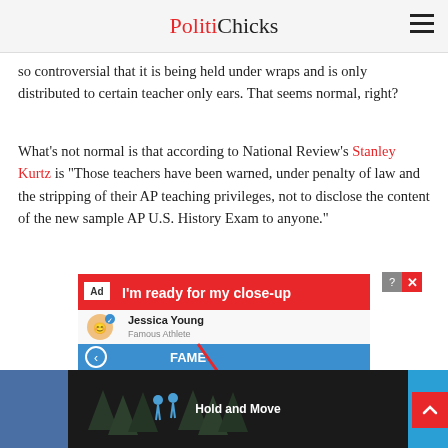PolitiChicks
so controversial that it is being held under wraps and is only distributed to certain teacher only ears. That seems normal, right?
What's not normal is that according to National Review's Stanley Kurtz is “Those teachers have been warned, under penalty of law and the stripping of their AP teaching privileges, not to disclose the content of the new sample AP U.S. History Exam to anyone.”
[Figure (screenshot): Advertisement screenshot showing a mobile app interface. Red banner at top reads 'Ad I’m ready for my close-up'. Below shows a profile for 'Jessica Young' labeled 'Famous Athlete'. A blue bar shows 'FAME' with a back arrow. A red arrow points to 'Photo Shoot' option with text 'Pose for a magaz...' and a circled option. Further down shows 'Talk Show' and BitLife logo.]
[Figure (screenshot): Bottom advertisement banner with dark background showing trees, text 'Hold and Move', and partial UI elements. Left side has blue block, right side has blue block. Question mark and X close buttons visible.]